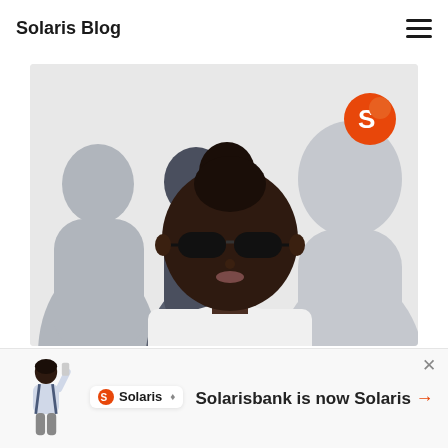Solaris Blog
[Figure (illustration): Illustrated graphic showing a dark-skinned woman with sunglasses and a bun hairstyle in the foreground, with grey silhouette figures in the background on a light grey background. An orange Solaris logo circle appears top right of the illustration.]
Corporate
[Figure (illustration): Bottom banner showing Solaris logo with a small illustrated person holding a phone, alongside the text 'Solarisbank is now Solaris →']